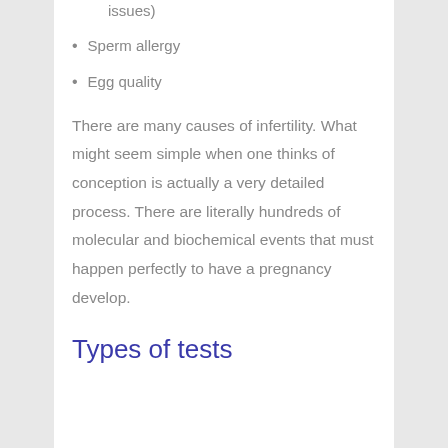issues)
Sperm allergy
Egg quality
There are many causes of infertility. What might seem simple when one thinks of conception is actually a very detailed process. There are literally hundreds of molecular and biochemical events that must happen perfectly to have a pregnancy develop.
Types of tests